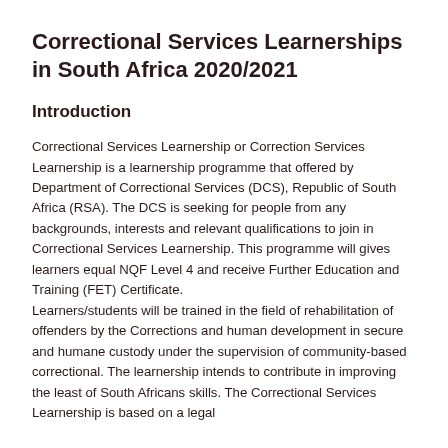Correctional Services Learnerships in South Africa 2020/2021
Introduction
Correctional Services Learnership or Correction Services Learnership is a learnership programme that offered by Department of Correctional Services (DCS), Republic of South Africa (RSA). The DCS is seeking for people from any backgrounds, interests and relevant qualifications to join in Correctional Services Learnership. This programme will gives learners equal NQF Level 4 and receive Further Education and Training (FET) Certificate.
Learners/students will be trained in the field of rehabilitation of offenders by the Corrections and human development in secure and humane custody under the supervision of community-based correctional. The learnership intends to contribute in improving the least of South Africans skills. The Correctional Services Learnership is based on a legal